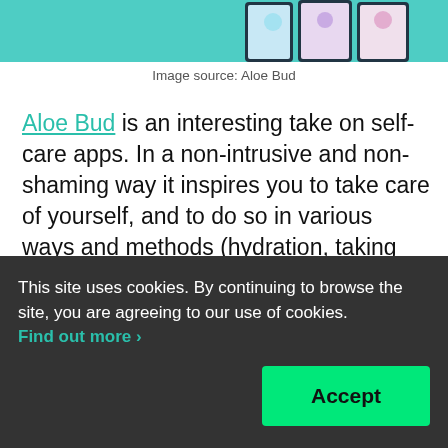[Figure (screenshot): Top portion of an app screenshot showing teal background with phone screens displaying colorful app UI]
Image source: Aloe Bud
Aloe Bud is an interesting take on self-care apps. In a non-intrusive and non-shaming way it inspires you to take care of yourself, and to do so in various ways and methods (hydration, taking breaks, breathing, moving, reaching out to friends). Many self-care apps focus only on one of those, and Aloe Bud allows you to prioritize what [text cut off]
This site uses cookies. By continuing to browse the site, you are agreeing to our use of cookies. Find out more ›